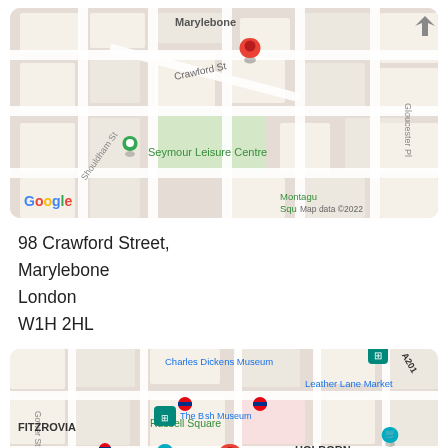[Figure (map): Google Map showing 98 Crawford Street, Marylebone area of London. Red location pin on Crawford St. Green pin for Seymour Leisure Centre. Streets include Shouldham St and Gloucester Pl. Map data ©2022.]
98 Crawford Street,
Marylebone
London
W1H 2HL
[Figure (map): Google Map showing central London area including Fitzrovia, Holborn, Russell Square. Red location pin near The British Museum. Landmarks: Charles Dickens Museum, Leather Lane Market, Primark, Sir John Soane's Museum. Shows roads including A40, A201, Gower St.]